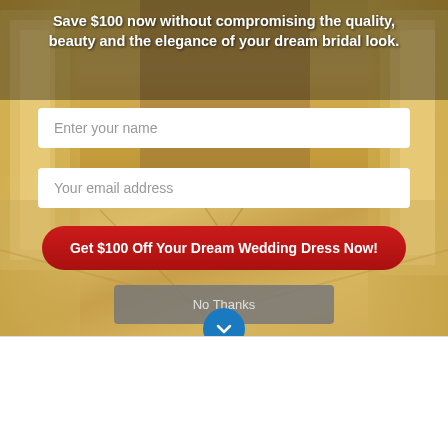Save $100 now without compromising the quality, beauty and the elegance of your dream bridal look.
[Figure (screenshot): Bridal shop popup overlay on a wedding dress store website background showing white wedding dresses on racks with a herringbone wood floor]
Enter your name
Your email address
Get $100 Off Your Dream Wedding Dress Now!
No Thanks
[Figure (logo): Best for Bride - The Best Bridal Stores logo with script text and small bride figure icon]
Store Finder
Call Toll
CLICK HERE TO BOOK APPO